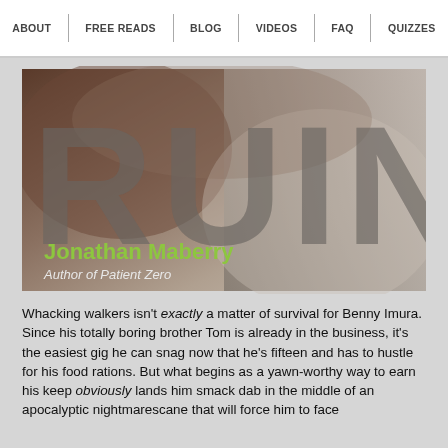ABOUT | FREE READS | BLOG | VIDEOS | FAQ | QUIZZES
[Figure (illustration): Book cover for 'Ruin' by Jonathan Maberry. Large distressed block letters R-U-I-N overlaid on a close-up black and white photo of a human face/skin. Author name 'Jonathan Maberry' in lime green text, subtitle 'Author of Patient Zero' in white italic text.]
Whacking walkers isn't exactly a matter of survival for Benny Imura. Since his totally boring brother Tom is already in the business, it's the easiest gig he can snag now that he's fifteen and has to hustle for his food rations. But what begins as a yawn-worthy way to earn his keep obviously lands him smack dab in the middle of an apocalyptic nightmarescane that will force him to face